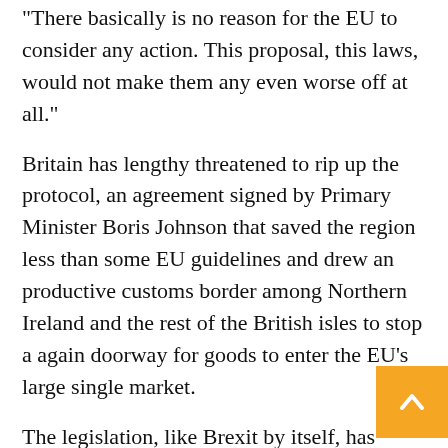"There basically is no reason for the EU to consider any action. This proposal, this laws, would not make them any even worse off at all."
Britain has lengthy threatened to rip up the protocol, an agreement signed by Primary Minister Boris Johnson that saved the region less than some EU guidelines and drew an productive customs border among Northern Ireland and the rest of the British isles to stop a again doorway for goods to enter the EU's large single market.
The legislation, like Brexit by itself, has break up lawful and political opinion, with supporters of the UK's divorce stating it does not go considerably plenty of and critics stating it undermines London's standing in the entire world by challenging an global settlement.